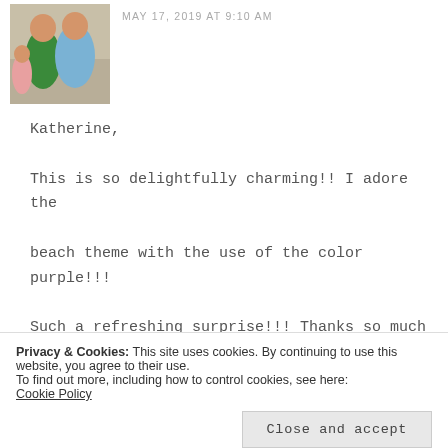[Figure (photo): Profile photo of two people in green and blue clothing outdoors]
MAY 17, 2019 AT 9:10 AM
Katherine,

This is so delightfully charming!! I adore the beach theme with the use of the color purple!!! Such a refreshing surprise!!! Thanks so much for sharing!!!

Hugs,

Debbie
Privacy & Cookies: This site uses cookies. By continuing to use this website, you agree to their use.
To find out more, including how to control cookies, see here:
Cookie Policy

Close and accept
[Figure (photo): Profile photo of a person, partially visible at bottom]
MAY 19, 2019 AT 4:20 PM